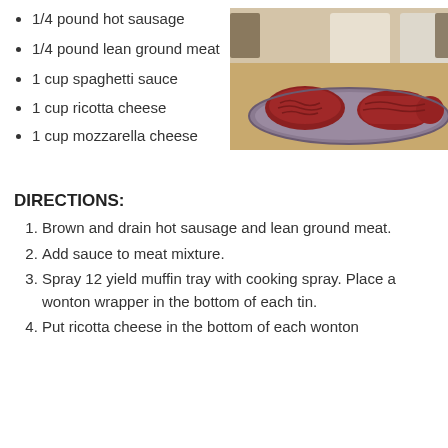1/4 pound hot sausage
1/4 pound lean ground meat
1 cup spaghetti sauce
1 cup ricotta cheese
1 cup mozzarella cheese
[Figure (photo): Photo of raw ground meat and sausage on a decorative plate on a kitchen table]
DIRECTIONS:
Brown and drain hot sausage and lean ground meat.
Add sauce to meat mixture.
Spray 12 yield muffin tray with cooking spray. Place a wonton wrapper in the bottom of each tin.
Put ricotta cheese in the bottom of each wonton